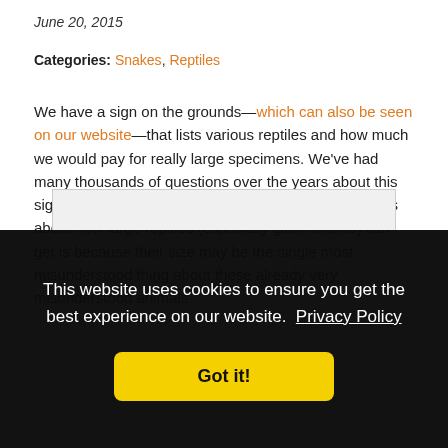June 20, 2015
Categories: Snakes, Reptiles
We have a sign on the grounds—which can also be seen on our website—that lists various reptiles and how much we would pay for really large specimens. We've had many thousands of questions over the years about this sign. One of the reasons we've had so many questions about how large reptiles (especially giant snakes) can get is because their size may be the single most misunderstood thing about these already very misunderstood animals.
This website uses cookies to ensure you get the best experience on our website.  Privacy Policy
Got it!